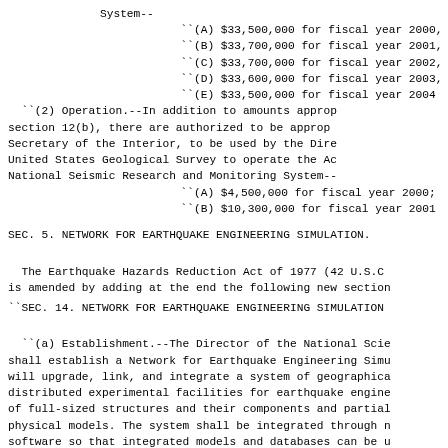System--
``(A) $33,500,000 for fiscal year 2000,
``(B) $33,700,000 for fiscal year 2001,
``(C) $33,700,000 for fiscal year 2002,
``(D) $33,600,000 for fiscal year 2003,
``(E) $33,500,000 for fiscal year 2004
``(2) Operation.--In addition to amounts approp section 12(b), there are authorized to be approp Secretary of the Interior, to be used by the Dire United States Geological Survey to operate the Ac National Seismic Research and Monitoring System--
``(A) $4,500,000 for fiscal year 2000;
``(B) $10,300,000 for fiscal year 2001
SEC. 5. NETWORK FOR EARTHQUAKE ENGINEERING SIMULATION.
The Earthquake Hazards Reduction Act of 1977 (42 U.S.C is amended by adding at the end the following new section
``SEC. 14. NETWORK FOR EARTHQUAKE ENGINEERING SIMULATION
``(a) Establishment.--The Director of the National Scie shall establish a Network for Earthquake Engineering Simu will upgrade, link, and integrate a system of geographica distributed experimental facilities for earthquake engine of full-sized structures and their components and partial physical models. The system shall be integrated through n software so that integrated models and databases can be u model-based simulation, and the components of the system interconnected with a computer network and allow for remo